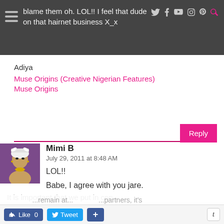blame them oh. LOL!! I feel that dude on that hairnet business X_x
Adiya
Muse Origins (Creative Nigerian Features)
Muse Origins
Reply
Mimi B
July 29, 2011 at 8:48 AM
LOL!!

Babe, I agree with you jare.

It is important that we put in con...
...remain at... ...partners, it's
Like 0   Tweet   +   t